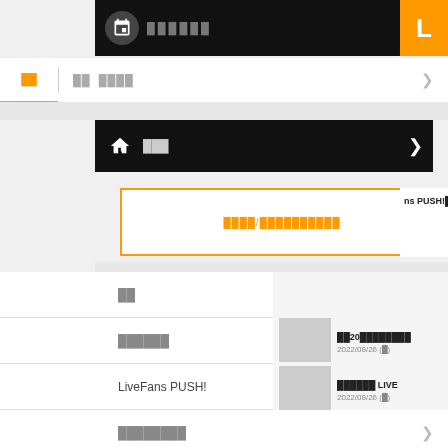[Figure (screenshot): Mobile app navigation menu for LiveFans with black header bars, tabs, orange-bordered input box, menu list items including LiveFans PUSH!, and news items on the right panel.]